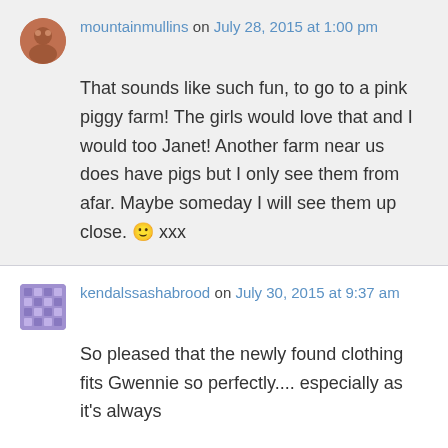mountainmullins on July 28, 2015 at 1:00 pm
That sounds like such fun, to go to a pink piggy farm! The girls would love that and I would too Janet! Another farm near us does have pigs but I only see them from afar. Maybe someday I will see them up close. 🙂 xxx
kendalssashabrood on July 30, 2015 at 9:37 am
So pleased that the newly found clothing fits Gwennie so perfectly.... especially as it's always